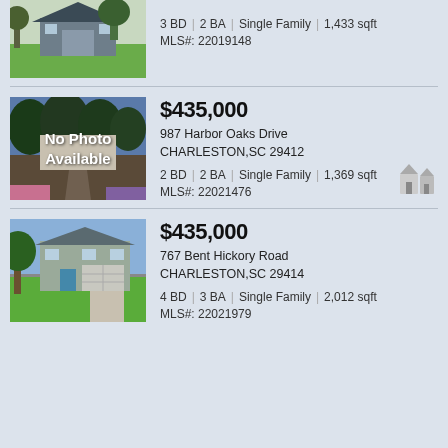[Figure (photo): Exterior photo of a house with green lawn and trees, partially cropped at top]
3 BD | 2 BA | Single Family | 1,433 sqft
MLS#: 22019148
[Figure (photo): No Photo Available placeholder over a background of trees and driveway]
$435,000
987 Harbor Oaks Drive
CHARLESTON,SC 29412
2 BD | 2 BA | Single Family | 1,369 sqft
MLS#: 22021476
[Figure (photo): Exterior photo of a two-story house with garage, green lawn and large tree]
$435,000
767 Bent Hickory Road
CHARLESTON,SC 29414
4 BD | 3 BA | Single Family | 2,012 sqft
MLS#: 22021979